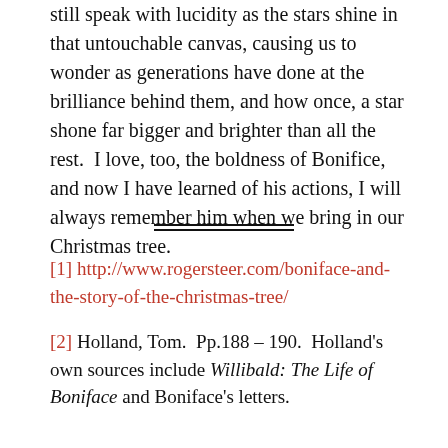still speak with lucidity as the stars shine in that untouchable canvas, causing us to wonder as generations have done at the brilliance behind them, and how once, a star shone far bigger and brighter than all the rest.  I love, too, the boldness of Bonifice, and now I have learned of his actions, I will always remember him when we bring in our Christmas tree.
[1] http://www.rogersteer.com/boniface-and-the-story-of-the-christmas-tree/
[2] Holland, Tom.  Pp.188 – 190.  Holland's own sources include Willibald: The Life of Boniface and Boniface's letters.